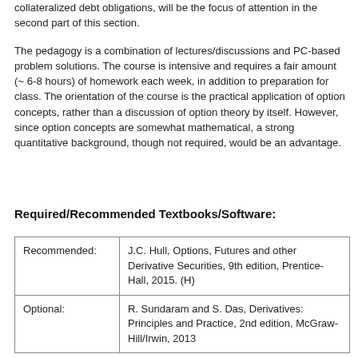collateralized debt obligations, will be the focus of attention in the second part of this section.
The pedagogy is a combination of lectures/discussions and PC-based problem solutions. The course is intensive and requires a fair amount (~ 6-8 hours) of homework each week, in addition to preparation for class. The orientation of the course is the practical application of option concepts, rather than a discussion of option theory by itself. However, since option concepts are somewhat mathematical, a strong quantitative background, though not required, would be an advantage.
Required/Recommended Textbooks/Software:
| Recommended: | J.C. Hull, Options, Futures and other Derivative Securities, 9th edition, Prentice-Hall, 2015. (H) |
| Optional: | R. Sundaram and S. Das, Derivatives: Principles and Practice, 2nd edition, McGraw-Hill/Irwin, 2013 |